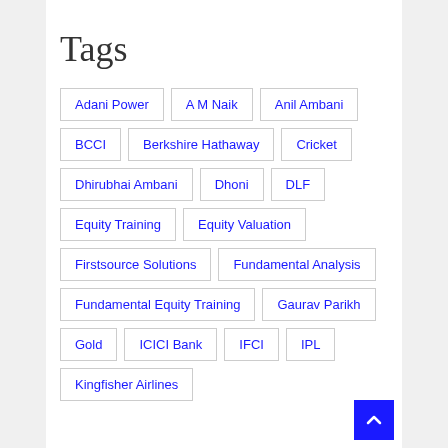Tags
Adani Power
A M Naik
Anil Ambani
BCCI
Berkshire Hathaway
Cricket
Dhirubhai Ambani
Dhoni
DLF
Equity Training
Equity Valuation
Firstsource Solutions
Fundamental Analysis
Fundamental Equity Training
Gaurav Parikh
Gold
ICICI Bank
IFCI
IPL
Kingfisher Airlines